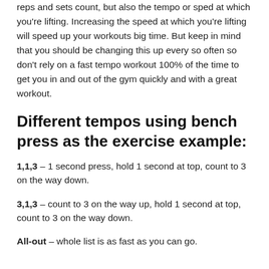reps and sets count, but also the tempo or sped at which you're lifting. Increasing the speed at which you're lifting will speed up your workouts big time. But keep in mind that you should be changing this up every so often so don't rely on a fast tempo workout 100% of the time to get you in and out of the gym quickly and with a great workout.
Different tempos using bench press as the exercise example:
1,1,3 – 1 second press, hold 1 second at top, count to 3 on the way down.
3,1,3 – count to 3 on the way up, hold 1 second at top, count to 3 on the way down.
All-out – whole list is as fast as you can go.